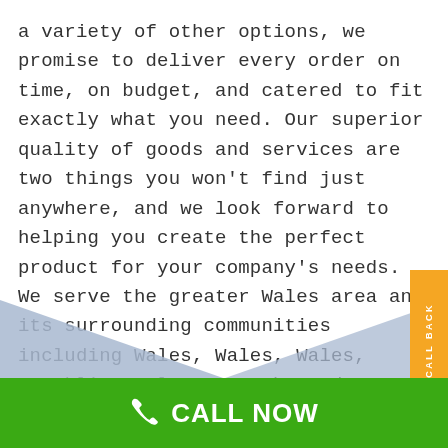a variety of other options, we promise to deliver every order on time, on budget, and catered to fit exactly what you need. Our superior quality of goods and services are two things you won't find just anywhere, and we look forward to helping you create the perfect product for your company's needs.  We serve the greater Wales area and its surrounding communities including Wales, Wales, Wales, Franklin, Wales, Kenosha and Madison, WI.  Call today for a free quote.
[Figure (illustration): Geometric decorative shapes: light blue and dark navy blue triangles forming an X or bowtie pattern on white background]
CALL NOW